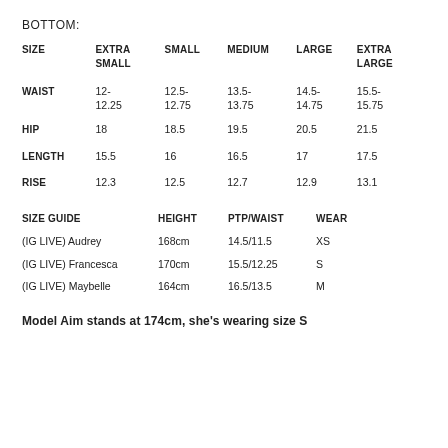BOTTOM:
| SIZE | EXTRA SMALL | SMALL | MEDIUM | LARGE | EXTRA LARGE |
| --- | --- | --- | --- | --- | --- |
| WAIST | 12-
12.25 | 12.5-
12.75 | 13.5-
13.75 | 14.5-
14.75 | 15.5-
15.75 |
| HIP | 18 | 18.5 | 19.5 | 20.5 | 21.5 |
| LENGTH | 15.5 | 16 | 16.5 | 17 | 17.5 |
| RISE | 12.3 | 12.5 | 12.7 | 12.9 | 13.1 |
| SIZE GUIDE | HEIGHT | PTP/WAIST | WEAR |
| --- | --- | --- | --- |
| (IG LIVE) Audrey | 168cm | 14.5/11.5 | XS |
| (IG LIVE) Francesca | 170cm | 15.5/12.25 | S |
| (IG LIVE) Maybelle | 164cm | 16.5/13.5 | M |
Model Aim stands at 174cm, she's wearing size S